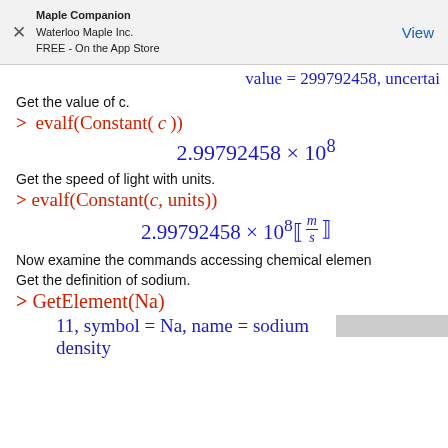Maple Companion
Waterloo Maple Inc.
FREE - On the App Store
View
Get the value of c.
Get the speed of light with units.
Now examine the commands accessing chemical elemen...
Get the definition of sodium.